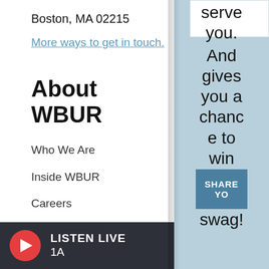Boston, MA 02215
More ways to get in touch.
About WBUR
Who We Are
Inside WBUR
Careers
WBUR Staff
Community Advisory Board
Board Of Directors
CPR Transparency
serve you. And gives you a chance to win WBUR swag!
SHARE YO
LISTEN LIVE 1A